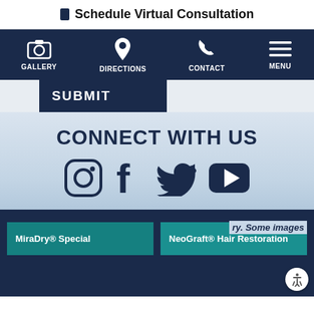Schedule Virtual Consultation
[Figure (screenshot): Navigation bar with icons for Gallery, Directions, Contact, Menu on dark navy background]
SUBMIT
CONNECT WITH US
[Figure (infographic): Social media icons: Instagram, Facebook, Twitter, YouTube in dark navy color]
MiraDry® Special
NeoGraft® Hair Restoration
ry. Some images